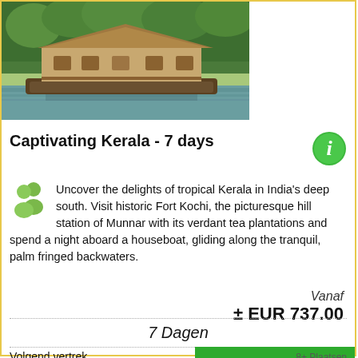[Figure (photo): A houseboat on backwaters surrounded by palm trees in Kerala, India]
Captivating Kerala - 7 days
Uncover the delights of tropical Kerala in India's deep south. Visit historic Fort Kochi, the picturesque hill station of Munnar with its verdant tea plantations and spend a night aboard a houseboat, gliding along the tranquil, palm fringed backwaters.
Vanaf
± EUR 737.00
7 Dagen
Volgend vertrek
10-sep-2022
24-sep-2022
Filter / zoeken 0
8+ Plaatsen
8+ Plaatsen